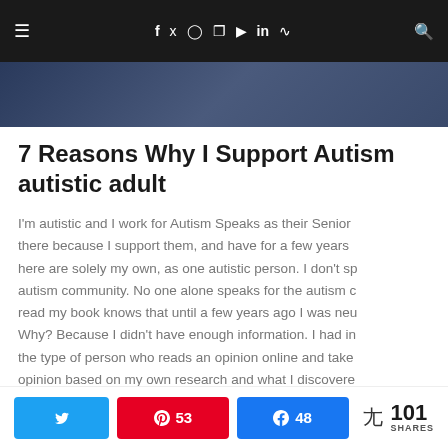Navigation bar with menu, social icons (f, twitter, instagram, pinterest, youtube, linkedin, rss), and search
[Figure (photo): Partial photo of a person wearing a dark navy blue shirt, cropped — only the lower portion visible]
7 Reasons Why I Support Autism ... autistic adult
I'm autistic and I work for Autism Speaks as their Senior ... there because I support them, and have for a few years ... here are solely my own, as one autistic person. I don't sp... autism community. No one alone speaks for the autism c... read my book knows that until a few years ago I was neu... Why? Because I didn't have enough information. I had in... the type of person who reads an opinion online and take... opinion based on my own research and what I discovere... worked for Autism Speaks for a while, I can confidently s... correct, and I do support Autism Speaks and its mission.
Twitter share button | Pinterest 53 | Facebook 48 | 101 SHARES